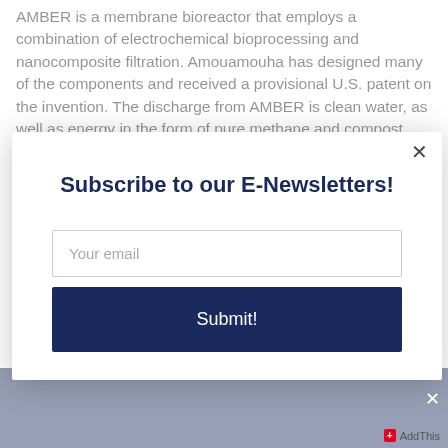AMBER is a membrane bioreactor that employs a combination of electrochemical bioprocessing and nanocomposite filtration. Amouamouha has designed many of the components and received a provisional U.S. patent on the invention. The discharge from AMBER is clean water, as well as energy in the form of pure methane and compost.
Subscribe to our E-Newsletters!
Your email
Submit!